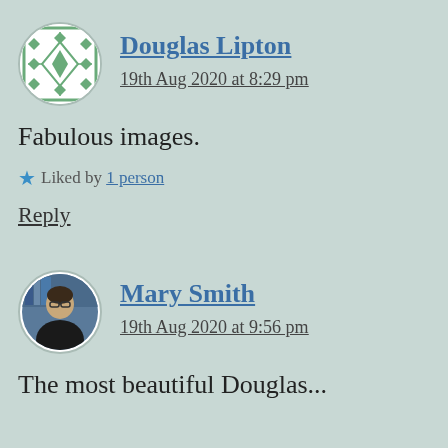[Figure (illustration): Avatar icon for Douglas Lipton — decorative geometric quilt pattern in green and white, circular crop]
Douglas Lipton
19th Aug 2020 at 8:29 pm
Fabulous images.
★ Liked by 1 person
Reply
[Figure (photo): Avatar photo of Mary Smith — woman with glasses and dark top, circular crop]
Mary Smith
19th Aug 2020 at 9:56 pm
The most beautiful Douglas...